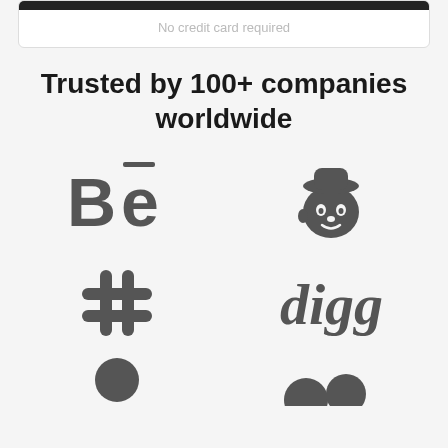No credit card required
Trusted by 100+ companies worldwide
[Figure (logo): Behance logo: bold 'Be' with macron over e, dark gray]
[Figure (logo): Mailchimp logo: chimp head with hat, dark gray]
[Figure (logo): Hash/pound symbol logo, dark gray]
[Figure (logo): Digg logo: italic bold text 'digg', dark gray]
[Figure (logo): Partially visible person/avatar logo, dark gray, bottom of page]
[Figure (logo): Partially visible logo, dark gray, bottom right, partially cropped]